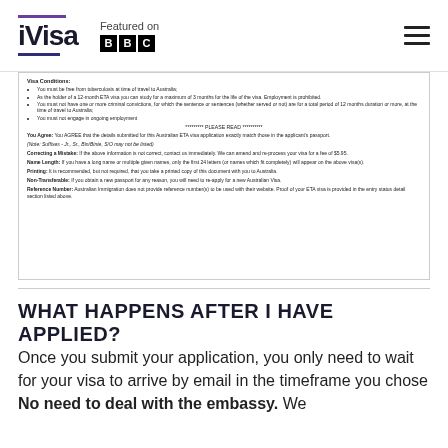iVisa — Featured on BBC
[Figure (screenshot): Scanned document showing Visa conditions including tuberculosis requirement, ETA study limits, no criminal convictions, no ongoing employment. PLEASE READ section with You Agree, Correcting a Mistake, Name Length, Printing, Non-Transferable, and Reference Number paragraphs.]
WHAT HAPPENS AFTER I HAVE APPLIED?
Once you submit your application, you only need to wait for your visa to arrive by email in the timeframe you chose No need to deal with the embassy. We